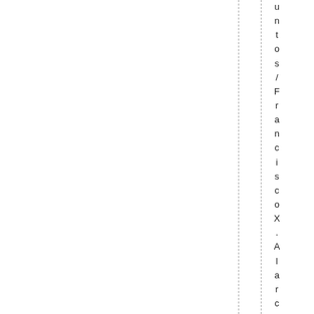untos/FranciscoX.Alarcón.illus